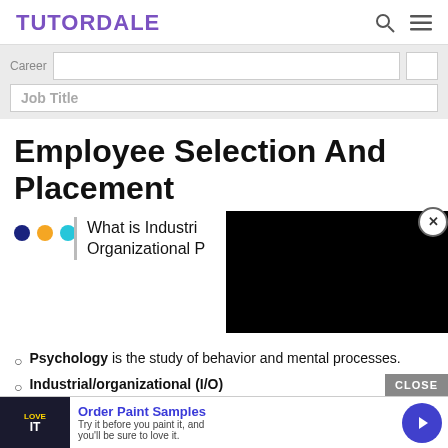TUTORDALE
[Figure (screenshot): Search bar area with Career label and Job Title input field]
Employee Selection And Placement
[Figure (screenshot): Three colored dots (blue, orange, teal) with vertical bar and text 'What is Industrial/Organizational P...' alongside a black video overlay with close button]
Psychology is the study of behavior and mental processes.
Industrial/organizational (I/O) psychology is the specialty area...
[Figure (screenshot): Advertisement banner: LOVE IT - Order Paint Samples. Try it before you paint it, and you'll be sure to love it.]